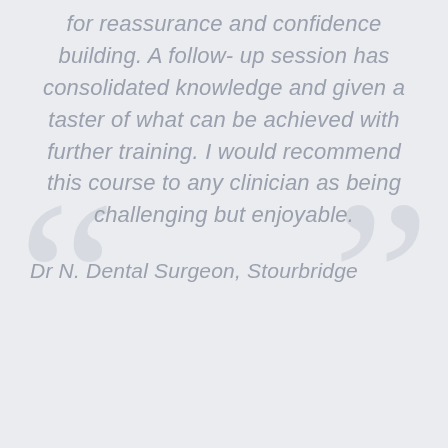for reassurance and confidence building. A follow- up session has consolidated knowledge and given a taster of what can be achieved with further training. I would recommend this course to any clinician as being challenging but enjoyable.
Dr N. Dental Surgeon, Stourbridge